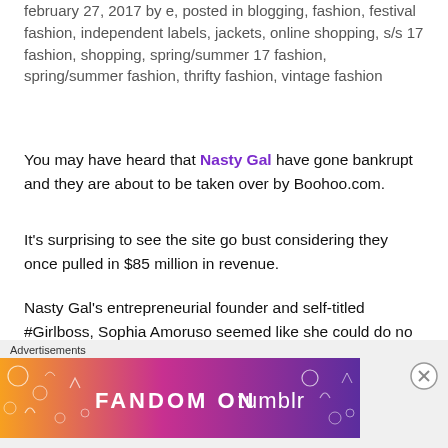february 27, 2017 by e, posted in blogging, fashion, festival fashion, independent labels, jackets, online shopping, s/s 17 fashion, shopping, spring/summer 17 fashion, spring/summer fashion, thrifty fashion, vintage fashion
You may have heard that Nasty Gal have gone bankrupt and they are about to be taken over by Boohoo.com.
It's surprising to see the site go bust considering they once pulled in $85 million in revenue.
Nasty Gal's entrepreneurial founder and self-titled #Girlboss, Sophia Amoruso seemed like she could do no wrong at one point.
Her book #Girlboss topped bestseller lists and there's
Advertisements
[Figure (other): Fandom on Tumblr advertisement banner with orange-to-purple gradient background and white illustrated icons]